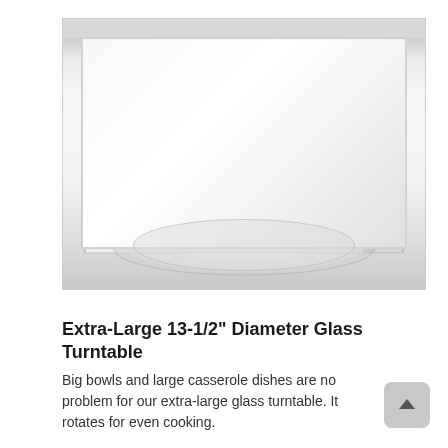[Figure (photo): Interior view of a microwave oven showing the white cavity, interior walls, and a large round glass turntable plate at the bottom center.]
Extra-Large 13-1/2" Diameter Glass Turntable
Big bowls and large casserole dishes are no problem for our extra-large glass turntable. It rotates for even cooking.